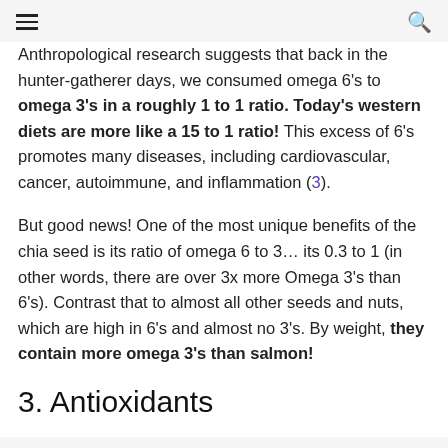☰  🔍
Anthropological research suggests that back in the hunter-gatherer days, we consumed omega 6's to omega 3's in a roughly 1 to 1 ratio. Today's western diets are more like a 15 to 1 ratio! This excess of 6's promotes many diseases, including cardiovascular, cancer, autoimmune, and inflammation (3).
But good news! One of the most unique benefits of the chia seed is its ratio of omega 6 to 3… its 0.3 to 1 (in other words, there are over 3x more Omega 3's than 6's). Contrast that to almost all other seeds and nuts, which are high in 6's and almost no 3's. By weight, they contain more omega 3's than salmon!
3. Antioxidants